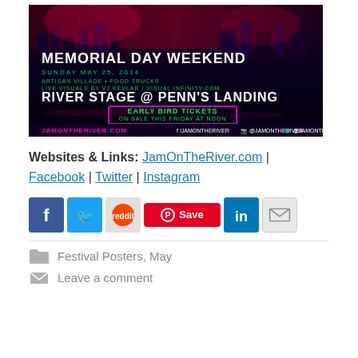[Figure (photo): Event poster for Jam on the River, Memorial Day Weekend, Sunday May 25, 2014. River Stage at Penn's Landing. Early Bird Tickets on sale this Friday at noon. JamOnTheRiver.com]
Websites & Links: JamOnTheRiver.com | Facebook | Twitter | Instagram
[Figure (infographic): Social sharing icons: Facebook, Twitter, Reddit, Pinterest Save, LinkedIn, Email]
Festival Posters, May
Leave a comment